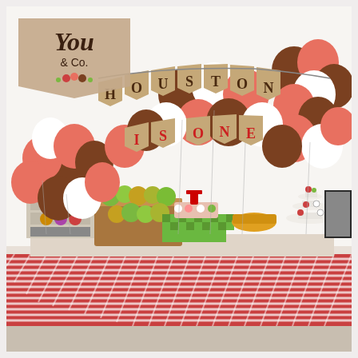[Figure (photo): A birthday party dessert table setup for 'Houston Is One' first birthday. The scene features a burlap banner spelling 'HOUSTON IS ONE' with large red/coral letters for 'IS ONE'. The backdrop is decorated with clusters of coral/pink, brown/chocolate, and white balloons arranged in arches. The dessert table is covered with a red and white striped/gingham tablecloth. On the table are apples, a birthday cake with a red number 1 topper, a yellow bowl, a tiered cake stand, and various party decorations. A logo in the top-left corner reads 'You & Co.' on a tan/beige banner shape.]